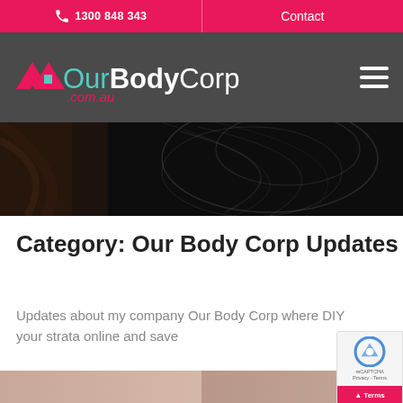1300 848 343 | Contact
[Figure (logo): OurBodyCorp.com.au logo with house roof icon in pink/teal on dark grey nav bar]
[Figure (photo): Dark abstract hero image with swirling light trails on black background]
Category: Our Body Corp Updates
Updates about my company Our Body Corp where DIY your strata online and save
[Figure (photo): Partial thumbnail image strip at page bottom]